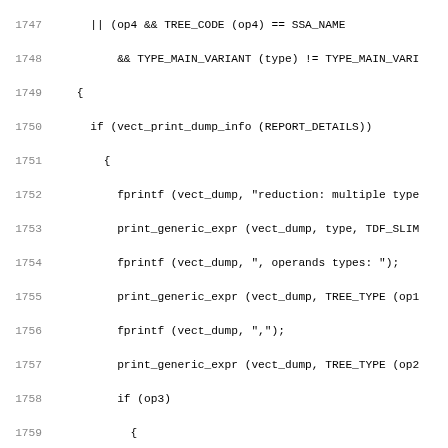[Figure (screenshot): Source code listing (C code) with line numbers 1747-1778, showing vectorization reduction type-checking logic including fprintf, print_generic_expr calls, conditional blocks for op3/op4, return NULL, and a block comment about checking computation order.]